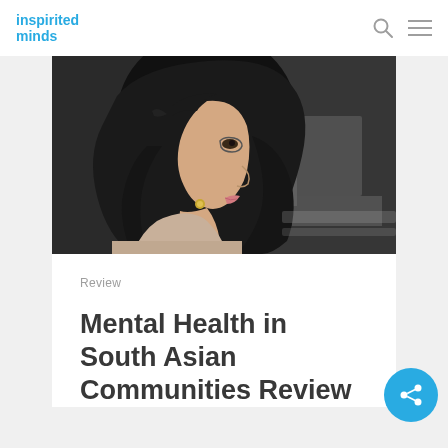inspirited minds
[Figure (photo): Side profile of a young woman wearing a black hijab and light beige jacket, looking left against a blurred urban background]
Review
Mental Health in South Asian Communities Review